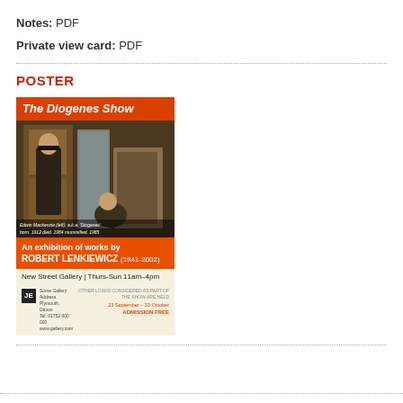Notes: PDF
Private view card: PDF
POSTER
[Figure (illustration): Exhibition poster for 'The Diogenes Show' - an exhibition of works by Robert Lenkiewicz (1941-2002) at New Street Gallery, Thurs-Sun 11am-4pm. Features a photograph of Edwin Mackenzie (left) a.k.a. 'Diogenes' born 1912, died 1984, mummified 1985. 23 September - 23 October. Admission Free.]